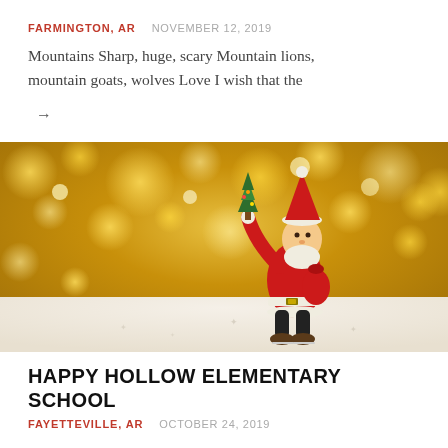FARMINGTON, AR   NOVEMBER 12, 2019
Mountains Sharp, huge, scary Mountain lions, mountain goats, wolves Love I wish that the
→
[Figure (photo): A small Santa Claus figurine ice skating, wearing a red suit and holding a small Christmas tree, against a golden bokeh background with white snow-like surface below.]
HAPPY HOLLOW ELEMENTARY SCHOOL
FAYETTEVILLE, AR   OCTOBER 24, 2019